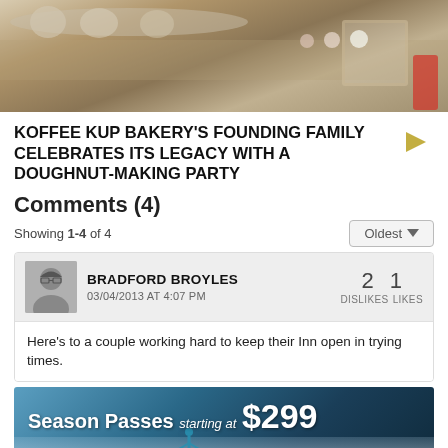[Figure (photo): Overhead view of doughnuts being made on a bakery production line, showing raw dough rings and other bakery equipment.]
KOFFEE KUP BAKERY'S FOUNDING FAMILY CELEBRATES ITS LEGACY WITH A DOUGHNUT-MAKING PARTY
Comments (4)
Showing 1-4 of 4
Oldest
BRADFORD BROYLES
03/04/2013 AT 4:07 PM
2 DISLIKES  1 LIKES
Here's to a couple working hard to keep their Inn open in trying times.
[Figure (photo): Advertisement banner: Season Passes starting at $299, showing a skier on a snowy slope.]